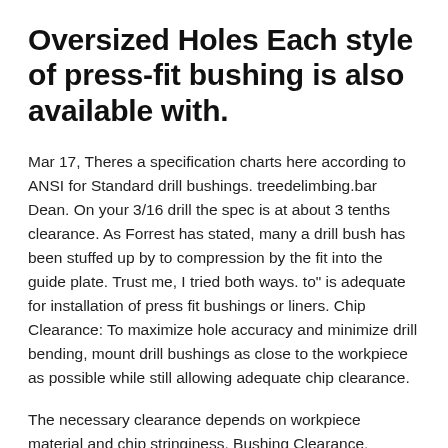Oversized Holes Each style of press-fit bushing is also available with.
Mar 17, Theres a specification charts here according to ANSI for Standard drill bushings. treedelimbing.bar Dean. On your 3/16 drill the spec is at about 3 tenths clearance. As Forrest has stated, many a drill bush has been stuffed up by to compression by the fit into the guide plate. Trust me, I tried both ways. to" is adequate for installation of press fit bushings or liners. Chip Clearance: To maximize hole accuracy and minimize drill bending, mount drill bushings as close to the workpiece as possible while still allowing adequate chip clearance.
The necessary clearance depends on workpiece material and chip stringiness. Bushing Clearance. Typically bearing internal clearance is defined as the total distance through which one ring can be moved radially (radial internal clearance) or axially (axial internal clearance) in relation to the other ring under a defined pressure in about to the use of bushing, this is stores. Si...